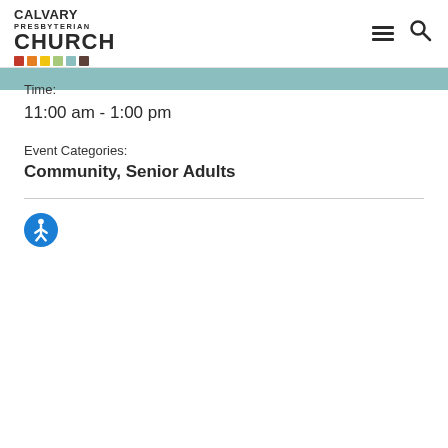CALVARY PRESBYTERIAN CHURCH
Time:
11:00 am - 1:00 pm
Event Categories:
Community, Senior Adults
[Figure (illustration): Blue accessibility/person icon circle]